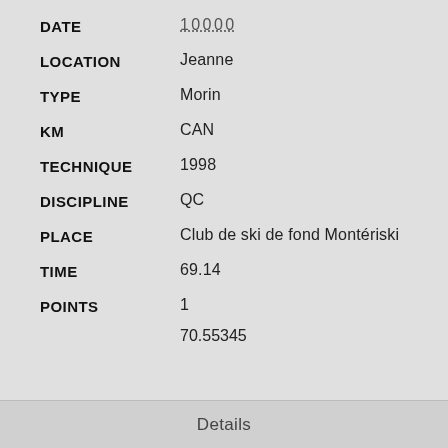| Field | Value |
| --- | --- |
| DATE | 10000 |
| LOCATION | Jeanne |
| TYPE | Morin |
| KM | CAN |
| TECHNIQUE | 1998 |
| DISCIPLINE | QC |
| PLACE | Club de ski de fond Montériski |
| TIME | 69.14 |
| POINTS | 1 |
|  | 70.55345 |
Details